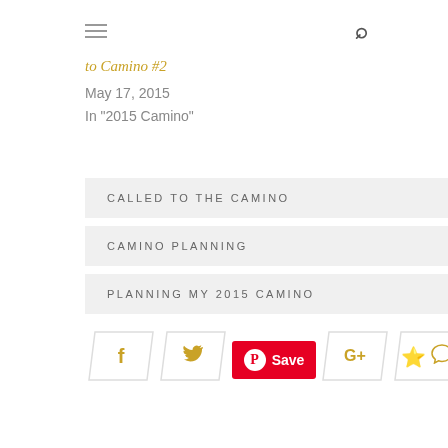≡  🔍
to Camino #2
May 17, 2015
In "2015 Camino"
CALLED TO THE CAMINO
CAMINO PLANNING
PLANNING MY 2015 CAMINO
[Figure (infographic): Social sharing buttons row: Facebook, Twitter, Pinterest Save, Google+, Comment]